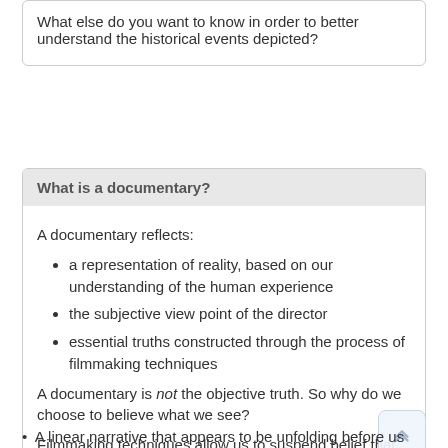What else do you want to know in order to better understand the historical events depicted?
What is a documentary?
A documentary reflects:
a representation of reality, based on our understanding of the human experience
the subjective view point of the director
essential truths constructed through the process of filmmaking techniques
A documentary is not the objective truth. So why do we choose to believe what we see?
Filmmaking techniques allow us to suspend belief that what we see and hear is real:
Handheld camera footage recorded in real time of actual events
A "fly on the wall" observational approach, absence of the director's presence
A linear narrative that appears to be unfolding before us through…